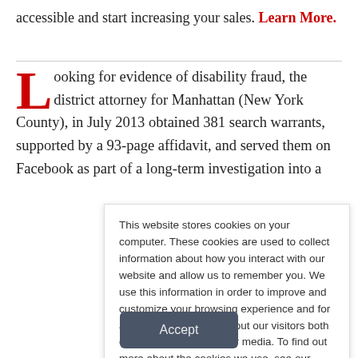accessible and start increasing your sales. Learn More.
Looking for evidence of disability fraud, the district attorney for Manhattan (New York County), in July 2013 obtained 381 search warrants, supported by a 93-page affidavit, and served them on Facebook as part of a long-term investigation into a
This website stores cookies on your computer. These cookies are used to collect information about how you interact with our website and allow us to remember you. We use this information in order to improve and customize your browsing experience and for analytics and metrics about our visitors both on this website and other media. To find out more about the cookies we use, see our Privacy Policy. California residents have the right to direct us not to sell their personal information to third parties by filing an Opt-Out Request: Do Not Sell My Personal Info.
Accept